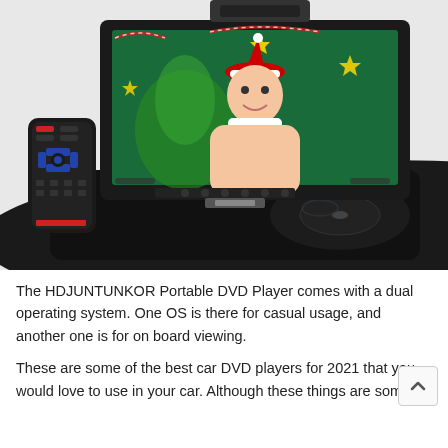[Figure (photo): Product photo of HDJUNTUNKOR Portable DVD Player with a swivel screen showing a girl in a Santa hat holding a Christmas gift, with a remote control on the left side.]
The HDJUNTUNKOR Portable DVD Player comes with a dual operating system. One OS is there for casual usage, and another one is for on board viewing.
These are some of the best car DVD players for 2021 that you would love to use in your car. Although these things are some